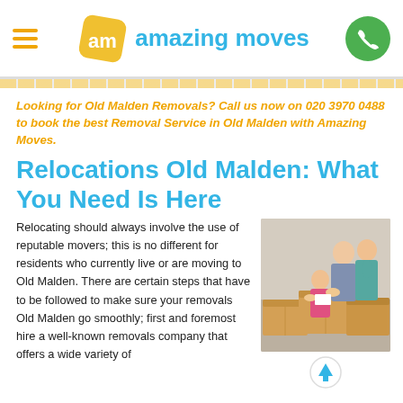Amazing Moves - logo and navigation
Looking for Old Malden Removals? Call us now on 020 3970 0488 to book the best Removal Service in Old Malden with Amazing Moves.
Relocations Old Malden: What You Need Is Here
Relocating should always involve the use of reputable movers; this is no different for residents who currently live or are moving to Old Malden. There are certain steps that have to be followed to make sure your removals Old Malden go smoothly; first and foremost hire a well-known removals company that offers a wide variety of
[Figure (photo): Family with moving boxes - man, woman, and young girl packing/unpacking cardboard boxes]